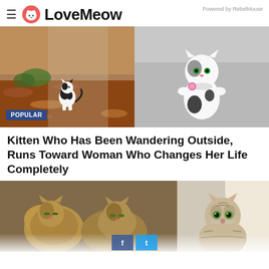LoveMeow — Powered by RebelMouse
[Figure (photo): Two cat photos side by side: left shows a small black and white kitten sitting outdoors among wood chips/mulch near a wall; right shows a white cat with black spots wearing a pink flower collar, sitting upright on a cushion. A 'POPULAR' badge overlay appears on the lower left.]
Kitten Who Has Been Wandering Outside, Runs Toward Woman Who Changes Her Life Completely
[Figure (photo): Two cat photos side by side: left shows two fluffy brownish tabby cats cuddled together, appearing scruffy; right shows a well-groomed tabby cat with green eyes looking at the camera. Social media share buttons (Facebook, Twitter) partially visible at the bottom with a fade overlay.]